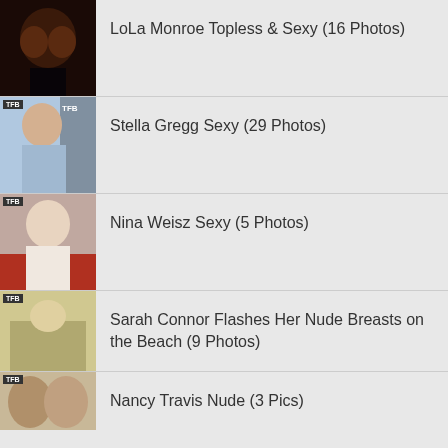LoLa Monroe Topless & Sexy (16 Photos)
Stella Gregg Sexy (29 Photos)
Nina Weisz Sexy (5 Photos)
Sarah Connor Flashes Her Nude Breasts on the Beach (9 Photos)
Nancy Travis Nude (3 Pics)